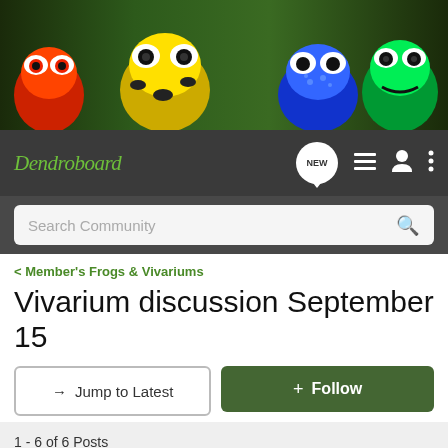[Figure (photo): Banner with four poison dart frogs on green foliage background: red/orange frog, yellow/black frog, blue/purple frog, and green/black frog]
Dendroboard — NEW — navigation icons — Search Community
< Member's Frogs & Vivariums
Vivarium discussion September 15
→ Jump to Latest   + Follow
1 - 6 of 6 Posts
fishingguy12345 · Administrator 🇨🇦 Joined Apr 6, 2019 · 4,377 Posts